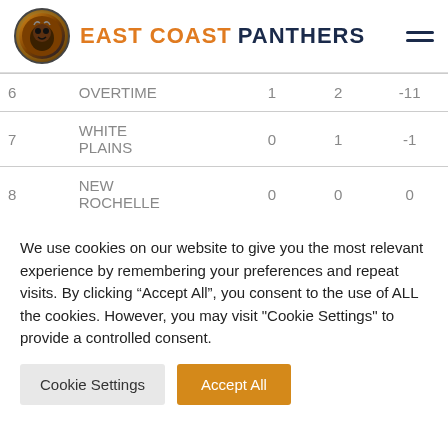EAST COAST PANTHERS
| # | NAME |  |  |  |
| --- | --- | --- | --- | --- |
| 6 | OVERTIME | 1 | 2 | -11 |
| 7 | WHITE PLAINS | 0 | 1 | -1 |
| 8 | NEW ROCHELLE | 0 | 0 | 0 |
We use cookies on our website to give you the most relevant experience by remembering your preferences and repeat visits. By clicking “Accept All”, you consent to the use of ALL the cookies. However, you may visit "Cookie Settings" to provide a controlled consent.